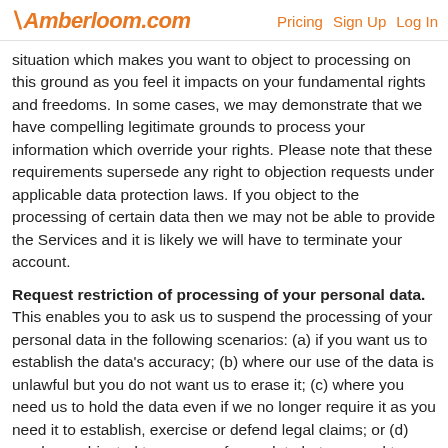Amberloom.com   Pricing   Sign Up   Log In
situation which makes you want to object to processing on this ground as you feel it impacts on your fundamental rights and freedoms. In some cases, we may demonstrate that we have compelling legitimate grounds to process your information which override your rights. Please note that these requirements supersede any right to objection requests under applicable data protection laws. If you object to the processing of certain data then we may not be able to provide the Services and it is likely we will have to terminate your account.
Request restriction of processing of your personal data. This enables you to ask us to suspend the processing of your personal data in the following scenarios: (a) if you want us to establish the data's accuracy; (b) where our use of the data is unlawful but you do not want us to erase it; (c) where you need us to hold the data even if we no longer require it as you need it to establish, exercise or defend legal claims; or (d) you have objected to our use of your data but we need to verify whether we have overriding legitimate grounds to use it. Please note that any requests in relation to the restriction of the processing of your data means that we may not be able to perform the contract we have, or are trying to enter into with you (including the Services).